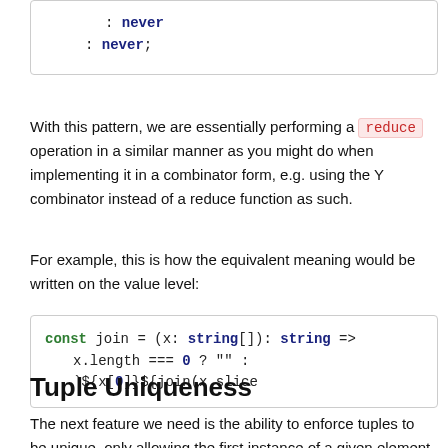: never
    : never;
With this pattern, we are essentially performing a reduce operation in a similar manner as you might do when implementing it in a combinator form, e.g. using the Y combinator instead of a reduce function as such.
For example, this is how the equivalent meaning would be written on the value level:
const join = (x: string[]): string =>
    x.length === 0 ? "" : `${x[0]}${join(x.slice
Tuple Uniqueness
The next feature we need is the ability to enforce tuples to be unique, only allowing the first instance of a given element to